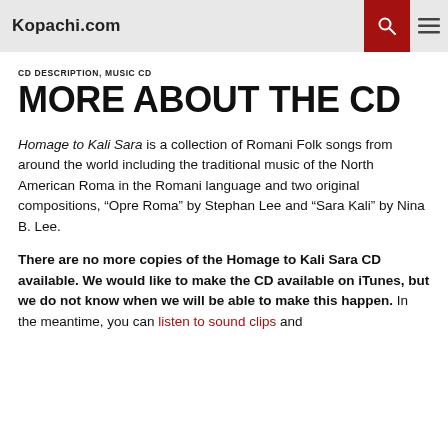Kopachi.com
CD DESCRIPTION, MUSIC CD
MORE ABOUT THE CD
Homage to Kali Sara is a collection of Romani Folk songs from around the world including the traditional music of the North American Roma in the Romani language and two original compositions, “Opre Roma” by Stephan Lee and “Sara Kali” by Nina B. Lee.
There are no more copies of the Homage to Kali Sara CD available. We would like to make the CD available on iTunes, but we do not know when we will be able to make this happen. In the meantime, you can listen to sound clips and